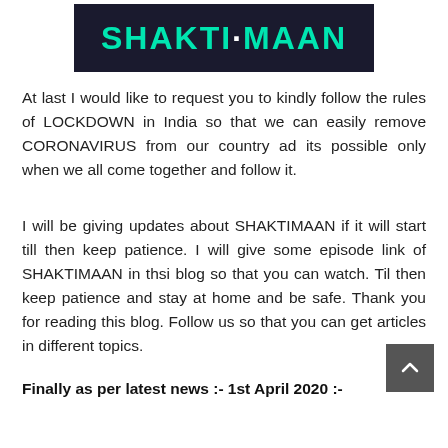[Figure (photo): Banner image with text SHAKTIMAAN in large teal/green letters on a dark background]
At last I would like to request you to kindly follow the rules of LOCKDOWN in India so that we can easily remove CORONAVIRUS from our country ad its possible only when we all come together and follow it.
I will be giving updates about SHAKTIMAAN if it will start till then keep patience. I will give some episode link of SHAKTIMAAN in thsi blog so that you can watch. Til then keep patience and stay at home and be safe. Thank you for reading this blog. Follow us so that you can get articles in different topics.
Finally as per latest news :- 1st April 2020 :-